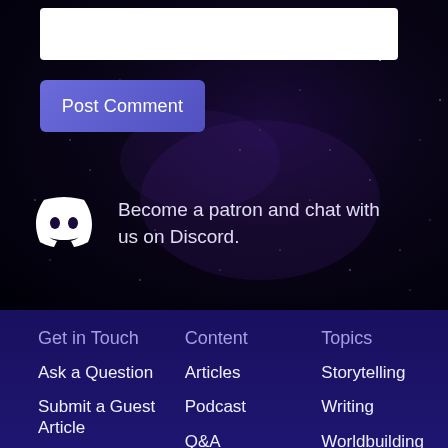[Figure (screenshot): White text input box at top of page on dark starry background]
[Figure (screenshot): Purple 'Post Comment' button below the text input]
Become a patron and chat with us on Discord.
Get in Touch
Content
Topics
Ask a Question
Articles
Storytelling
Submit a Guest Article
Podcast
Writing
Q&A
Worldbuilding